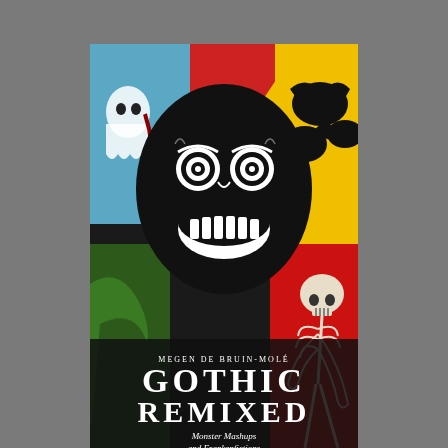[Figure (illustration): Book cover of 'Gothic Remixed: Monster Mashups and Frankenfictions' by Megen de Bruin-Molé. The cover features a large black monster/skull face with concentric circle eyes and jagged white teeth in the center. Background shows colorful gothic illustrations: a ghost on the left, bats on the right, a skeleton on the lower right, green tentacle-like shapes on the lower left, with red, yellow, and other vivid colors. Author name 'MEGEN DE BRUIN-MOLÉ' appears in small white caps, followed by large white serif title 'GOTHIC REMIXED' and subtitle 'Monster Mashups and Frankenfictions' in italic white text.]